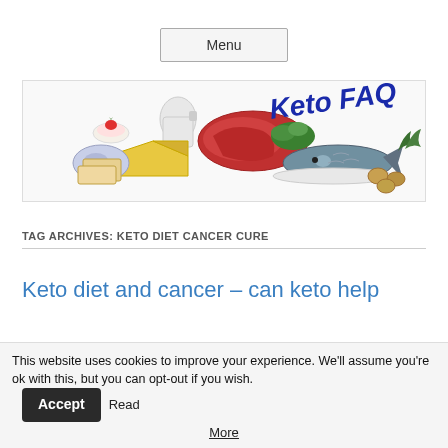Menu
[Figure (photo): Keto FAQ banner image showing various keto-friendly foods including meat, fish, cheese, milk, eggs, and vegetables, with 'Keto FAQ' text in bold blue italic letters on the right side.]
TAG ARCHIVES: KETO DIET CANCER CURE
Keto diet and cancer – can keto help
This website uses cookies to improve your experience. We'll assume you're ok with this, but you can opt-out if you wish. Accept Read More